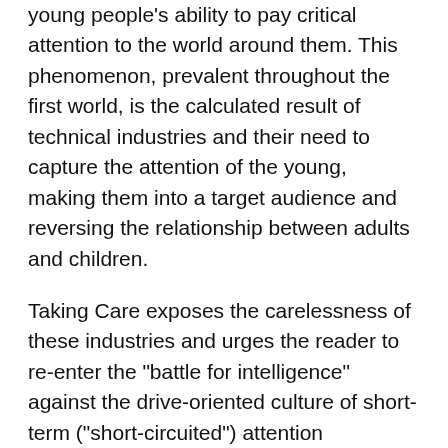young people's ability to pay critical attention to the world around them. This phenomenon, prevalent throughout the first world, is the calculated result of technical industries and their need to capture the attention of the young, making them into a target audience and reversing the relationship between adults and children.
Taking Care exposes the carelessness of these industries and urges the reader to re-enter the "battle for intelligence" against the drive-oriented culture of short-term ("short-circuited") attention characteristic of the negative aspects of the new technologies. Long-term attention, Stiegler shows, produces retentions of cultural memory mandatory for social development—and for the counteracting of ADD and ADHD. Examining the history of education from Plato to the current quagmires in France and the United States, he tracks the notion of critical thinking from its Enlightenment apotheosis to its current eradication. Stiegler is unique